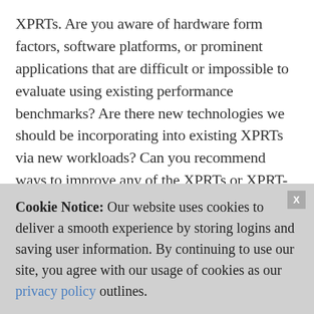XPRTs. Are you aware of hardware form factors, software platforms, or prominent applications that are difficult or impossible to evaluate using existing performance benchmarks? Are there new technologies we should be incorporating into existing XPRTs via new workloads? Can you recommend ways to improve any of the XPRTs or XPRT-related tools such as results viewers?

We are interested in your answers to these questions and any other ideas you have, so please
Cookie Notice: Our website uses cookies to deliver a smooth experience by storing logins and saving user information. By continuing to use our site, you agree with our usage of cookies as our privacy policy outlines.